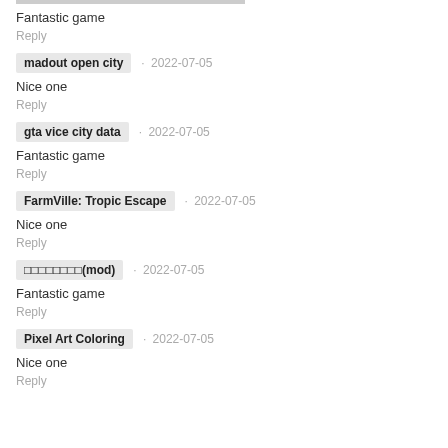Fantastic game
Reply
madout open city · 2022-07-05
Nice one
Reply
gta vice city data · 2022-07-05
Fantastic game
Reply
FarmVille: Tropic Escape · 2022-07-05
Nice one
Reply
🔲🔲🔲🔲🔲🔲🔲🔲(mod) · 2022-07-05
Fantastic game
Reply
Pixel Art Coloring · 2022-07-05
Nice one
Reply